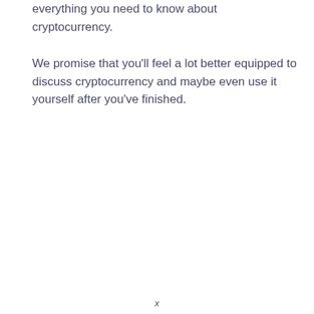everything you need to know about cryptocurrency.
We promise that you'll feel a lot better equipped to discuss cryptocurrency and maybe even use it yourself after you've finished.
x